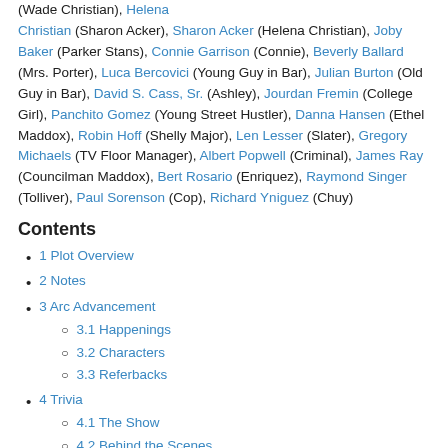(Wade Christian), Helena Christian (Sharon Acker), Sharon Acker (Helena Christian), Joby Baker (Parker Stans), Connie Garrison (Connie), Beverly Ballard (Mrs. Porter), Luca Bercovici (Young Guy in Bar), Julian Burton (Old Guy in Bar), David S. Cass, Sr. (Ashley), Jourdan Fremin (College Girl), Panchito Gomez (Young Street Hustler), Danna Hansen (Ethel Maddox), Robin Hoff (Shelly Major), Len Lesser (Slater), Gregory Michaels (TV Floor Manager), Albert Popwell (Criminal), James Ray (Councilman Maddox), Bert Rosario (Enriquez), Raymond Singer (Tolliver), Paul Sorenson (Cop), Richard Yniguez (Chuy)
Contents
1 Plot Overview
2 Notes
3 Arc Advancement
3.1 Happenings
3.2 Characters
3.3 Referbacks
4 Trivia
4.1 The Show
4.2 Behind the Scenes
4.3 Allusions and References
4.4 Memorable Moments
5 Quotes
6 Reviews
Plot Overview
Private detectives Rick and A.J. Simon investigate a kidnapping case that has ties to a popular local news anchor.